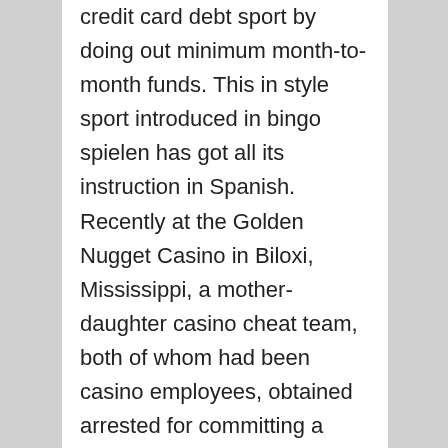credit card debt sport by doing out minimum month-to-month funds. This in style sport introduced in bingo spielen has got all its instruction in Spanish. Recently at the Golden Nugget Casino in Biloxi, Mississippi, a mother-daughter casino cheat team, both of whom had been casino employees, obtained arrested for committing a participant card casino scam. They'd most likely have been considering that even when their scam got discovered, as it did, they would by no means end up in courtroom, where because it now stands they should refund their winnings.

Most casino dishonest circumstances that end up in courtroom often take little of the court